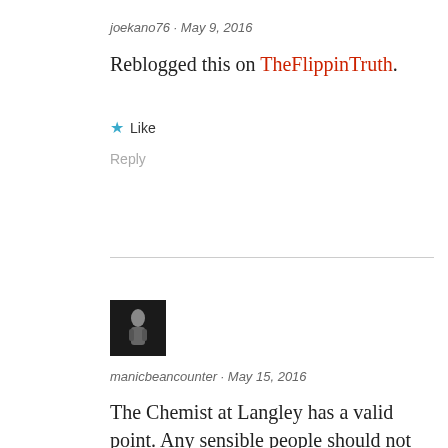joekano76 · May 9, 2016
Reblogged this on TheFlippinTruth.
★ Like
Reply
[Figure (photo): Dark avatar photo thumbnail of manicbeancounter user]
manicbeancounter · May 15, 2016
The Chemist at Langley has a valid point. Any sensible people should not make political